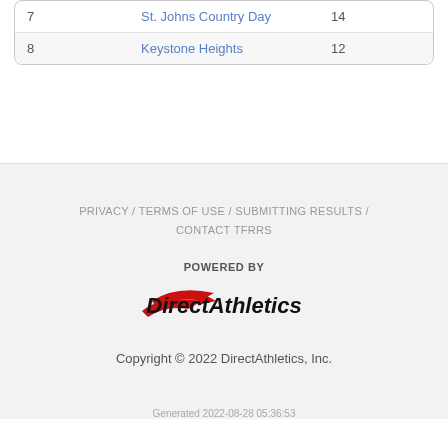|  |  |  |
| --- | --- | --- |
| 7 | St. Johns Country Day | 14 |
| 8 | Keystone Heights | 12 |
PRIVACY / TERMS OF USE / SUBMITTING RESULTS / CONTACT TFRRS
[Figure (logo): POWERED BY DirectAthletics logo with red swoosh icon]
Copyright © 2022 DirectAthletics, Inc.
Generated 2022-08-28 05:36:53